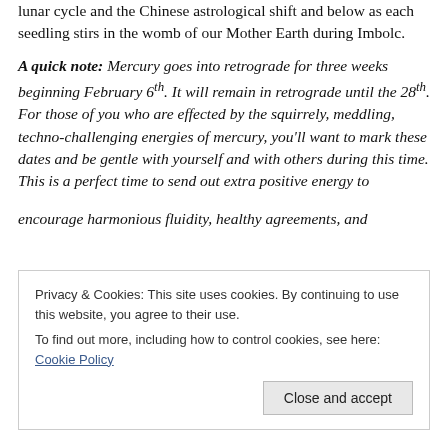lunar cycle and the Chinese astrological shift and below as each seedling stirs in the womb of our Mother Earth during Imbolc.
A quick note: Mercury goes into retrograde for three weeks beginning February 6th. It will remain in retrograde until the 28th. For those of you who are effected by the squirrely, meddling, techno-challenging energies of mercury, you'll want to mark these dates and be gentle with yourself and with others during this time. This is a perfect time to send out extra positive energy to encourage harmonious fluidity, healthy agreements, and
Privacy & Cookies: This site uses cookies. By continuing to use this website, you agree to their use.
To find out more, including how to control cookies, see here: Cookie Policy